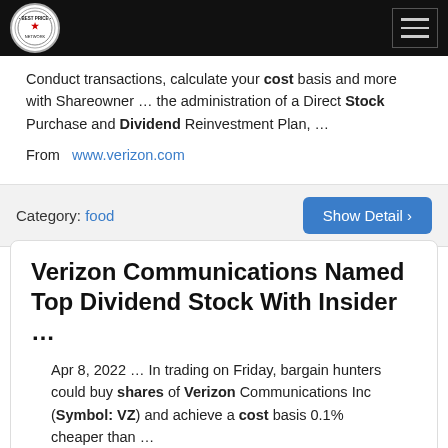BEST PRICE [logo] [hamburger menu]
Conduct transactions, calculate your cost basis and more with Shareowner … the administration of a Direct Stock Purchase and Dividend Reinvestment Plan, …
From   www.verizon.com
Category: food
Show Detail ›
Verizon Communications Named Top Dividend Stock With Insider …
Apr 8, 2022 … In trading on Friday, bargain hunters could buy shares of Verizon Communications Inc (Symbol: VZ) and achieve a cost basis 0.1% cheaper than …
From   www.nasdaq.com